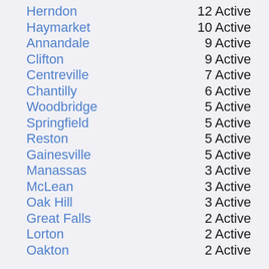Herndon — 12 Active
Haymarket — 10 Active
Annandale — 9 Active
Clifton — 9 Active
Centreville — 7 Active
Chantilly — 6 Active
Woodbridge — 5 Active
Springfield — 5 Active
Reston — 5 Active
Gainesville — 5 Active
Manassas — 3 Active
McLean — 3 Active
Oak Hill — 3 Active
Great Falls — 2 Active
Lorton — 2 Active
Oakton — 2 Active